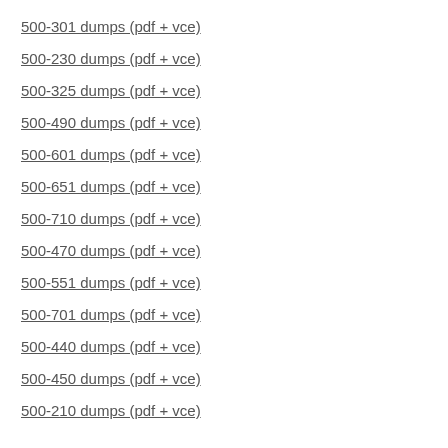500-301 dumps (pdf + vce)
500-230 dumps (pdf + vce)
500-325 dumps (pdf + vce)
500-490 dumps (pdf + vce)
500-601 dumps (pdf + vce)
500-651 dumps (pdf + vce)
500-710 dumps (pdf + vce)
500-470 dumps (pdf + vce)
500-551 dumps (pdf + vce)
500-701 dumps (pdf + vce)
500-440 dumps (pdf + vce)
500-450 dumps (pdf + vce)
500-210 dumps (pdf + vce)